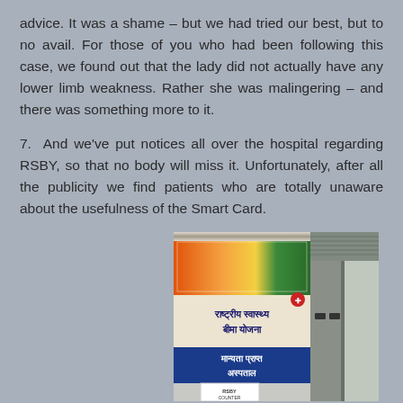advice. It was a shame – but we had tried our best, but to no avail. For those of you who had been following this case, we found out that the lady did not actually have any lower limb weakness. Rather she was malingering – and there was something more to it.
7. And we've put notices all over the hospital regarding RSBY, so that no body will miss it. Unfortunately, after all the publicity we find patients who are totally unaware about the usefulness of the Smart Card.
[Figure (photo): Photo of an RSBY (Rashtriya Swasthya Bima Yojana) hospital sign board with Hindi text and a blue banner, shown at a hospital entrance.]